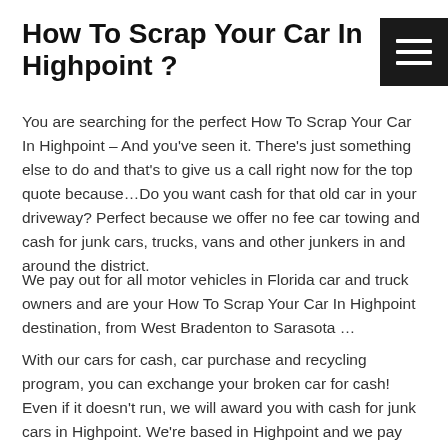How To Scrap Your Car In Highpoint ?
You are searching for the perfect How To Scrap Your Car In Highpoint – And you've seen it. There's just something else to do and that's to give us a call right now for the top quote because…Do you want cash for that old car in your driveway? Perfect because we offer no fee car towing and cash for junk cars, trucks, vans and other junkers in and around the district.
We pay out for all motor vehicles in Florida car and truck owners and are your How To Scrap Your Car In Highpoint destination, from West Bradenton to Sarasota …
With our cars for cash, car purchase and recycling program, you can exchange your broken car for cash! Even if it doesn't run, we will award you with cash for junk cars in Highpoint. We're based in Highpoint and we pay cash for cars in almost any shape. Get the most money for all autos that have been damaged in accidents – any condition, running or not. Top dollar for cars and other vehicles with